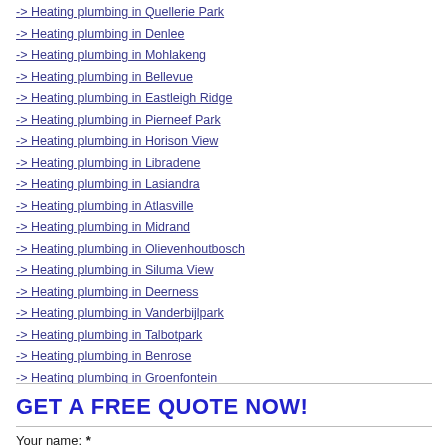-> Heating plumbing in Quellerie Park
-> Heating plumbing in Denlee
-> Heating plumbing in Mohlakeng
-> Heating plumbing in Bellevue
-> Heating plumbing in Eastleigh Ridge
-> Heating plumbing in Pierneef Park
-> Heating plumbing in Horison View
-> Heating plumbing in Libradene
-> Heating plumbing in Lasiandra
-> Heating plumbing in Atlasville
-> Heating plumbing in Midrand
-> Heating plumbing in Olievenhoutbosch
-> Heating plumbing in Siluma View
-> Heating plumbing in Deerness
-> Heating plumbing in Vanderbijlpark
-> Heating plumbing in Talbotpark
-> Heating plumbing in Benrose
-> Heating plumbing in Groenfontein
-> Heating plumbing in Theresapark
GET A FREE QUOTE NOW!
Your name: *